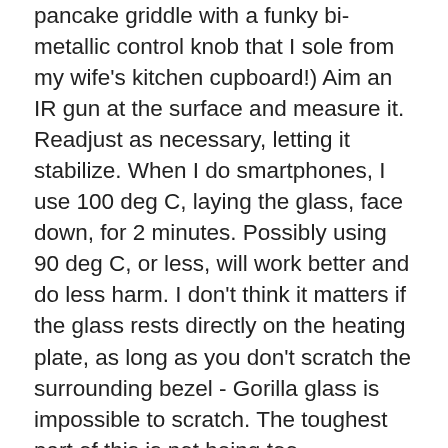pancake griddle with a funky bi-metallic control knob that I sole from my wife's kitchen cupboard!) Aim an IR gun at the surface and measure it. Readjust as necessary, letting it stabilize. When I do smartphones, I use 100 deg C, laying the glass, face down, for 2 minutes. Possibly using 90 deg C, or less, will work better and do less harm. I don't think it matters if the glass rests directly on the heating plate, as long as you don't scratch the surrounding bezel - Gorilla glass is impossible to scratch. The toughest part of this is not being too aggressive, lifting too much, too fast. If it is not releasing with a thin blade (single edge razor), then heat it some more. Good luck with solvents; acetone can damage most plastics and alcohol may not be aggressive enough. I would stick with heat and be very patient. This is not rocket science but it is VERY delicate. Always, ALWAYS, be ready to buy a new display and don't forget the custom strip adhesive for the edges, either way. I've never had problems gluing back phones, but the larger surface area of a tablet may require reheating and